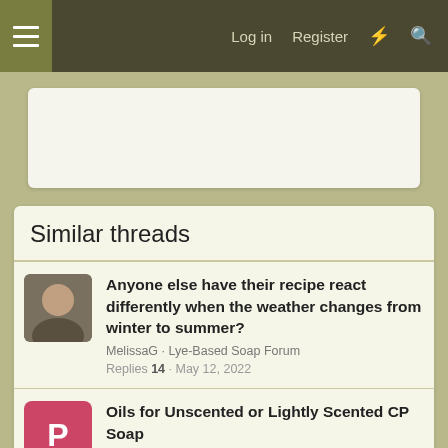Log in  Register
[Figure (screenshot): Advertisement placeholder box]
Similar threads
Anyone else have their recipe react differently when the weather changes from winter to summer? · MelissaG · Lye-Based Soap Forum · Replies 14 · May 12, 2022
Oils for Unscented or Lightly Scented CP Soap · Pims · Lye-Based Soap Forum · Replies 9 · Jul 31, 2022
Need scent suggestions · kirsten · Liquid Soap & Cream Soap Forum · Replies 6 · May 30, 2022